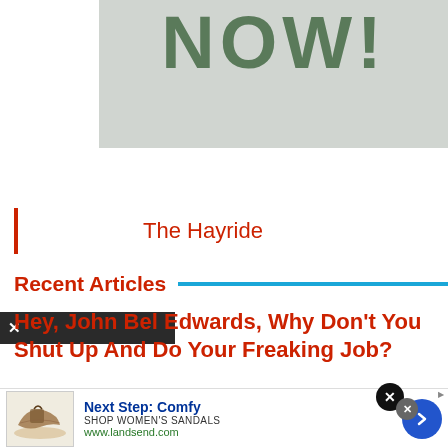[Figure (illustration): Partial banner image with large text 'NOW!' in dark green/olive on a light gray background]
The Hayride
Recent Articles
Hey, John Bel Edwards, Why Don't You Shut Up And Do Your Freaking Job?
[Figure (infographic): Advertisement banner: Next Step: Comfy — SHOP WOMEN'S SANDALS — www.landsend.com with sandal image and navigation arrow button]